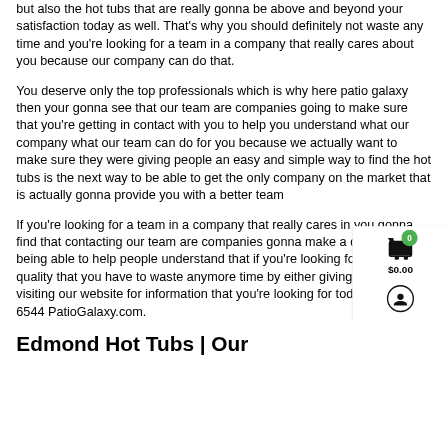but also the hot tubs that are really gonna be above and beyond your satisfaction today as well. That's why you should definitely not waste any time and you're looking for a team in a company that really cares about you because our company can do that.
You deserve only the top professionals which is why here patio galaxy then your gonna see that our team are companies going to make sure that you're getting in contact with you to help you understand what our company what our team can do for you because we actually want to make sure they were giving people an easy and simple way to find the hot tubs is the next way to be able to get the only company on the market that is actually gonna provide you with a better team
If you're looking for a team in a company that really cares in you gonna find that contacting our team are companies gonna make a difference in being able to help people understand that if you're looking for the top quality that you have to waste anymore time by either giving us a call or visiting our website for information that you're looking for today 405-493-6544 PatioGalaxy.com.
Edmond Hot Tubs | Our